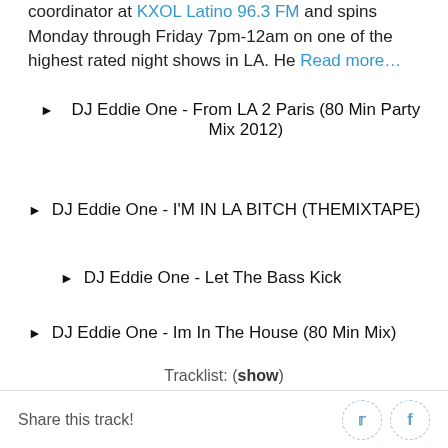coordinator at KXOL Latino 96.3 FM and spins Monday through Friday 7pm-12am on one of the highest rated night shows in LA. He Read more…
DJ Eddie One - From LA 2 Paris (80 Min Party Mix 2012)
DJ Eddie One - I'M IN LA BITCH (THEMIXTAPE)
DJ Eddie One - Let The Bass Kick
DJ Eddie One - Im In The House (80 Min Mix)
Tracklist: (show)
Share this track!